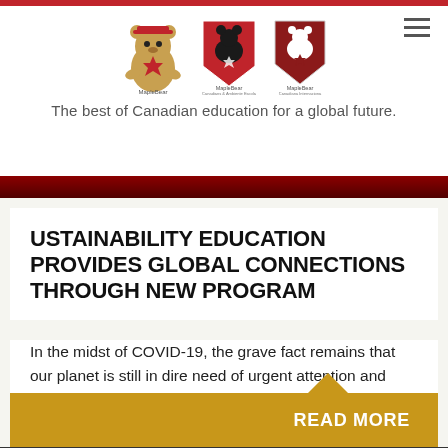MapleBear Canadian School | The best of Canadian education for a global future.
USTAINABILITY EDUCATION PROVIDES GLOBAL CONNECTIONS THROUGH NEW PROGRAM
In the midst of COVID-19, the grave fact remains that our planet is still in dire need of urgent attention and universal change. As global citizens, we all need to...
READ MORE
[Figure (photo): Classroom scene with children, partially visible at bottom of page]